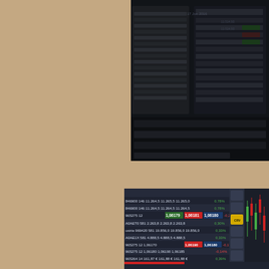[Figure (photo): Dark background photo of multiple computer monitors displaying financial trading data, stock tickers, and market information in a trading room setup.]
[Figure (photo): Close-up photo of a trading platform screen showing financial market data with rows of stock/forex trading data including WKN numbers, bid/ask prices in Euros, and a candlestick chart on the right side. Rows include entries for instruments like 514000, 555200, 659990, 766403, A1ML7J with prices around 17,750€ to 128,930€ and percentage changes. A red X button and KONFIGURATION panel are visible. LS-DAX Lang & Schwarz ticker shown.]